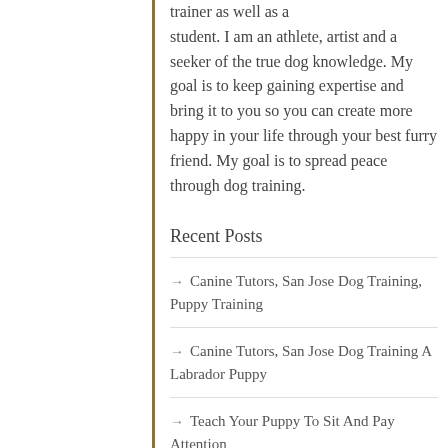trainer as well as a student. I am an athlete, artist and a seeker of the true dog knowledge. My goal is to keep gaining expertise and bring it to you so you can create more happy in your life through your best furry friend. My goal is to spread peace through dog training.
Recent Posts
Canine Tutors, San Jose Dog Training, Puppy Training
Canine Tutors, San Jose Dog Training A Labrador Puppy
Teach Your Puppy To Sit And Pay Attention
Basic Obedience From The Beginning With